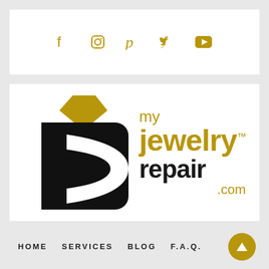[Figure (infographic): Social media icons row: Facebook, Instagram, Pinterest, Twitter, YouTube — all in gold/tan color on white background]
[Figure (logo): MyJewelryRepair.com logo — black ring graphic with gold diamond on left; gold text 'my' and 'jewelry™' and dark 'repair' and gold '.com' on right]
HOME   SERVICES   BLOG   F.A.Q.